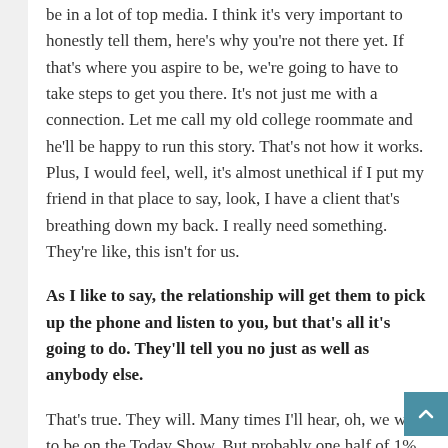be in a lot of top media. I think it's very important to honestly tell them, here's why you're not there yet. If that's where you aspire to be, we're going to have to take steps to get you there. It's not just me with a connection. Let me call my old college roommate and he'll be happy to run this story. That's not how it works. Plus, I would feel, well, it's almost unethical if I put my friend in that place to say, look, I have a client that's breathing down my back. I really need something. They're like, this isn't for us.
As I like to say, the relationship will get them to pick up the phone and listen to you, but that's all it's going to do. They'll tell you no just as well as anybody else.
That's true. They will. Many times I'll hear, oh, we want to be on the Today Show. But probably one half of 1% of Today Show viewers are the target audience. I ask if these is a potential piece that's